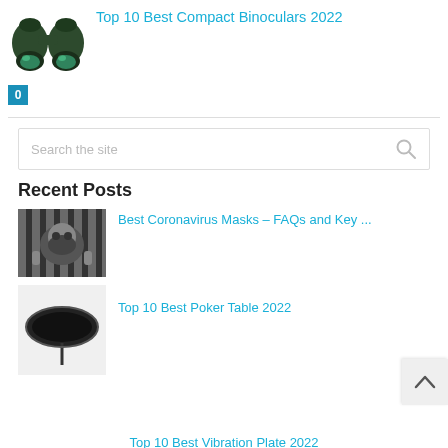Top 10 Best Compact Binoculars 2022
[Figure (photo): Green binoculars product photo with a blue badge showing '0']
[Figure (screenshot): Search the site input box with magnifier icon]
Recent Posts
[Figure (photo): Person wearing coronavirus mask looking through bars]
Best Coronavirus Masks – FAQs and Key ...
[Figure (photo): Black oval poker table top product image]
Top 10 Best Poker Table 2022
Top 10 Best Vibration Plate 2022